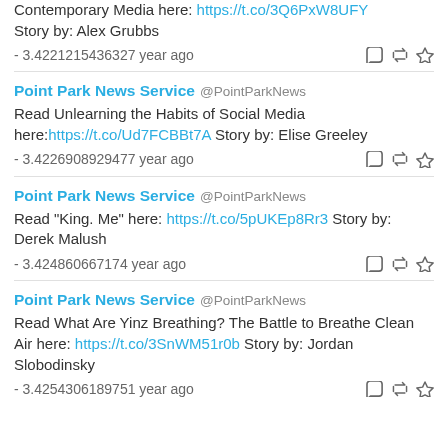Contemporary Media here: https://t.co/3Q6PxW8UFY Story by: Alex Grubbs
- 3.4221215436327 year ago
Point Park News Service @PointParkNews
Read Unlearning the Habits of Social Media here:https://t.co/Ud7FCBBt7A Story by: Elise Greeley
- 3.4226908929477 year ago
Point Park News Service @PointParkNews
Read "King. Me" here: https://t.co/5pUKEp8Rr3 Story by: Derek Malush
- 3.424860667174 year ago
Point Park News Service @PointParkNews
Read What Are Yinz Breathing? The Battle to Breathe Clean Air here: https://t.co/3SnWM51r0b Story by: Jordan Slobodinsky
- 3.4254306189751 year ago